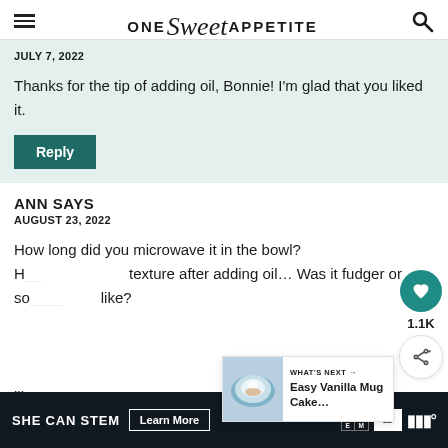ONE Sweet APPETITE
JULY 7, 2022
Thanks for the tip of adding oil, Bonnie! I'm glad that you liked it.
Reply
ANN SAYS
AUGUST 23, 2022
How long did you microwave it in the bowl? H... texture after adding oil… Was it fudger or so... like?
[Figure (other): What's Next widget showing Easy Vanilla Mug Cake thumbnail]
SHE CAN STEM Learn More ad council